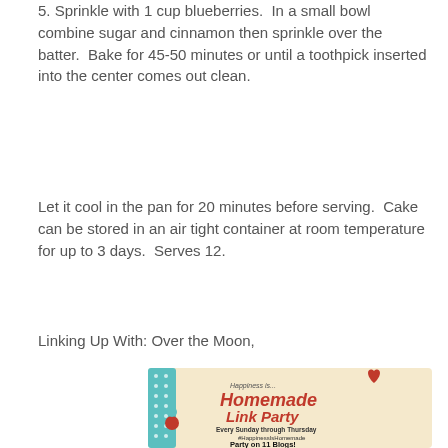5. Sprinkle with 1 cup blueberries. In a small bowl combine sugar and cinnamon then sprinkle over the batter. Bake for 45-50 minutes or until a toothpick inserted into the center comes out clean.
Let it cool in the pan for 20 minutes before serving. Cake can be stored in an air tight container at room temperature for up to 3 days. Serves 12.
Linking Up With: Over the Moon,
[Figure (illustration): Decorative banner for 'Happiness is... Homemade Link Party — Every Sunday through Thursday #HappinessIsHomemade Party on 11 Blogs!' with floral and heart decorations in red, teal, and cream colors.]